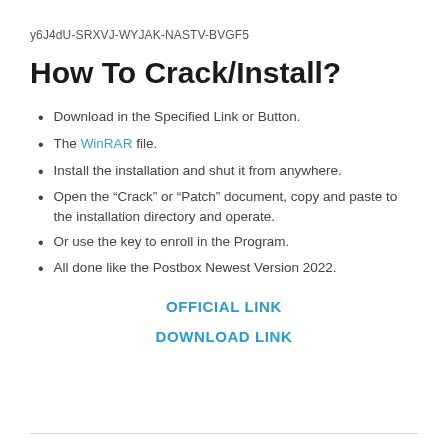y6J4dU-SRXVJ-WYJAK-NASTV-BVGF5
How To Crack/Install?
Download in the Specified Link or Button.
The WinRAR file.
Install the installation and shut it from anywhere.
Open the “Crack” or “Patch” document, copy and paste to the installation directory and operate.
Or use the key to enroll in the Program.
All done like the Postbox Newest Version 2022.
OFFICIAL LINK
DOWNLOAD LINK